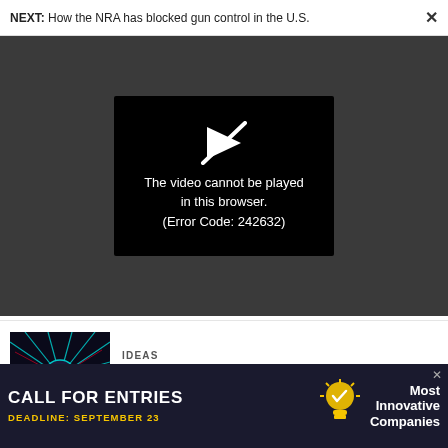NEXT: How the NRA has blocked gun control in the U.S.
[Figure (screenshot): Video player error screen on dark background. Shows a play button icon crossed out and text: 'The video cannot be played in this browser. (Error Code: 242632)']
[Figure (photo): Microscope image of a cell or organism with teal and red coloring]
IDEAS
Carbon offsets have serious issues. Is it even possible to fix them?
PRESENTED BY AUTODESK
[Figure (screenshot): Advertisement banner: CALL FOR ENTRIES, DEADLINE: SEPTEMBER 23, Most Innovative Companies]